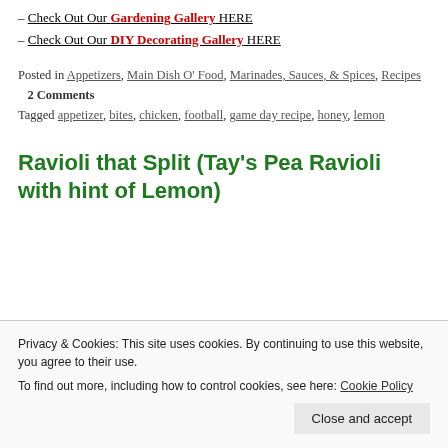– Check Out Our Gardening Gallery HERE
– Check Out Our DIY Decorating Gallery HERE
Posted in Appetizers, Main Dish O' Food, Marinades, Sauces, & Spices, Recipes   2 Comments
Tagged appetizer, bites, chicken, football, game day recipe, honey, lemon
Ravioli that Split (Tay’s Pea Ravioli with hint of Lemon)
Privacy & Cookies: This site uses cookies. By continuing to use this website, you agree to their use. To find out more, including how to control cookies, see here: Cookie Policy
Close and accept